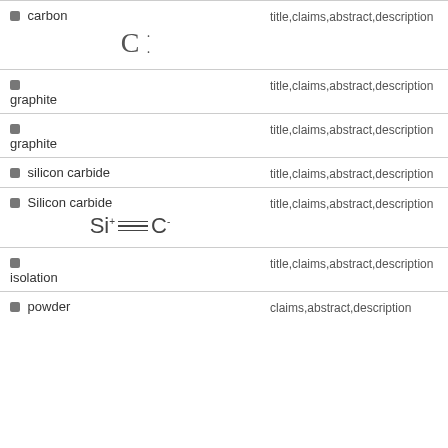carbon
[Figure (math-figure): Lewis dot structure of carbon atom: C with two dots]
graphite
graphite
silicon carbide
Silicon carbide
[Figure (math-figure): Chemical structure of silicon carbide: Si+ triple bond C-]
isolation
powder